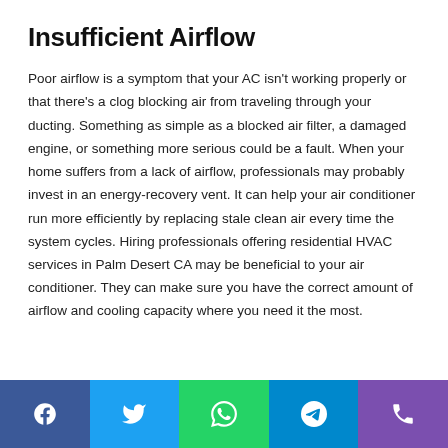Insufficient Airflow
Poor airflow is a symptom that your AC isn't working properly or that there's a clog blocking air from traveling through your ducting. Something as simple as a blocked air filter, a damaged engine, or something more serious could be a fault. When your home suffers from a lack of airflow, professionals may probably invest in an energy-recovery vent. It can help your air conditioner run more efficiently by replacing stale clean air every time the system cycles. Hiring professionals offering residential HVAC services in Palm Desert CA may be beneficial to your air conditioner. They can make sure you have the correct amount of airflow and cooling capacity where you need it the most.
Social share bar with Facebook, Twitter, WhatsApp, Telegram, Phone icons